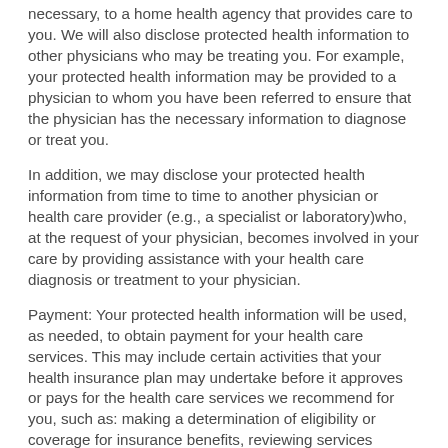necessary, to a home health agency that provides care to you. We will also disclose protected health information to other physicians who may be treating you. For example, your protected health information may be provided to a physician to whom you have been referred to ensure that the physician has the necessary information to diagnose or treat you.
In addition, we may disclose your protected health information from time to time to another physician or health care provider (e.g., a specialist or laboratory)who, at the request of your physician, becomes involved in your care by providing assistance with your health care diagnosis or treatment to your physician.
Payment: Your protected health information will be used, as needed, to obtain payment for your health care services. This may include certain activities that your health insurance plan may undertake before it approves or pays for the health care services we recommend for you, such as: making a determination of eligibility or coverage for insurance benefits, reviewing services provided to you for protected health necessity, and undertaking utilization review activities. For example, obtaining approval for a hospital stay may require that your relevant protected health